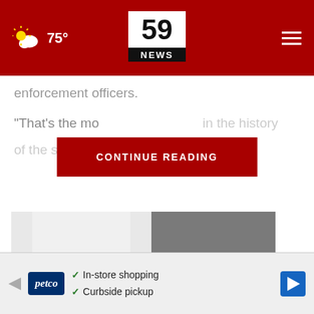59 NEWS — 75°
enforcement officers.
“That’s the mo in the history of the sheriff’s said.
CONTINUE READING
[Figure (photo): Close-up photo of a person wearing white jeans and grey slip-on shoes with studded details on a pavement surface.]
You'll Be Like Walking on a Cloud in
[Figure (infographic): Petco advertisement banner with logo, checkmarks indicating In-store shopping and Curbside pickup, and a navigation arrow icon.]